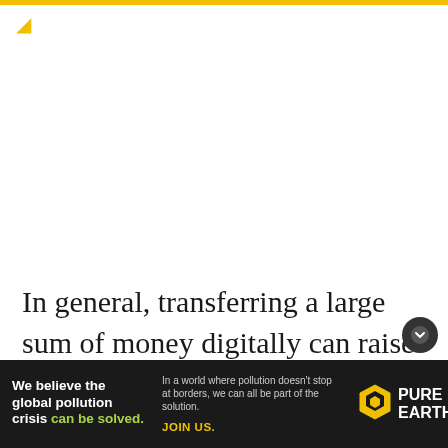In general, transferring a large sum of money digitally can raise questions as to why the person couldn't do a regular bank transfer. If the person is somehow under suspicion, if they are the
[Figure (other): Advertisement banner for Pure Earth organization. Left side dark background with text: 'We believe the global pollution crisis can be solved.' Middle: 'In a world where pollution doesn't stop at borders, we can all be part of the solution.' Right: Pure Earth logo with diamond/earth icon. Bottom: JOIN US. in yellow.]